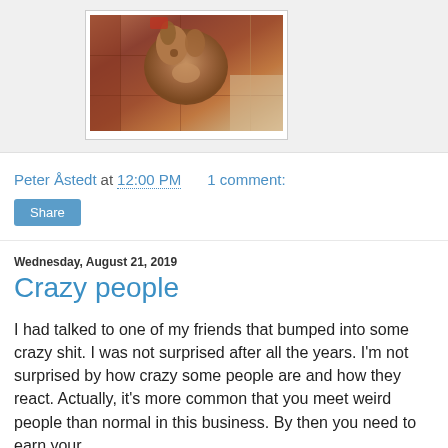[Figure (photo): A dog sitting on a tiled floor, photographed from above]
Peter Åstedt at 12:00 PM    1 comment:
Share
Wednesday, August 21, 2019
Crazy people
I had talked to one of my friends that bumped into some crazy shit. I was not surprised after all the years. I'm not surprised by how crazy some people are and how they react. Actually, it's more common that you meet weird people than normal in this business. By then you need to earn your